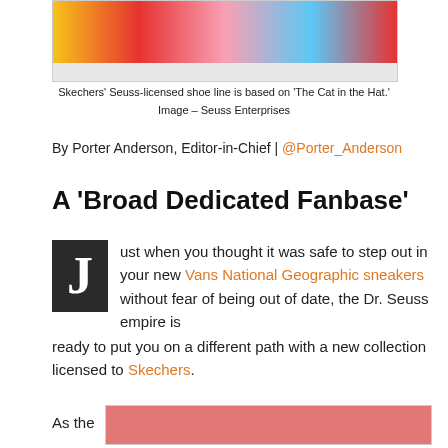[Figure (photo): Colorful Skechers Dr. Seuss-licensed shoe line based on The Cat in the Hat, showing multiple shoes in red, yellow, pink and blue backgrounds]
Skechers' Seuss-licensed shoe line is based on 'The Cat in the Hat.' Image – Seuss Enterprises
By Porter Anderson, Editor-in-Chief | @Porter_Anderson
A 'Broad Dedicated Fanbase'
Just when you thought it was safe to step out in your new Vans National Geographic sneakers without fear of being out of date, the Dr. Seuss empire is ready to put you on a different path with a new collection licensed to Skechers.
As the